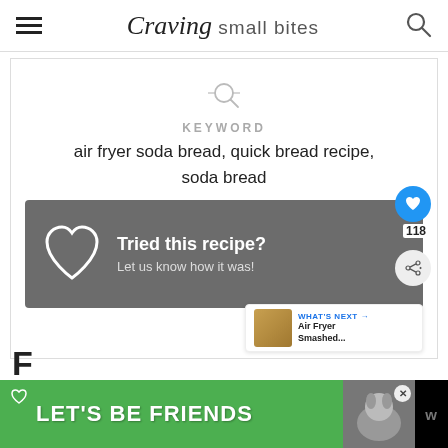Craving small bites
KEYWORD
air fryer soda bread, quick bread recipe, soda bread
[Figure (infographic): Gray banner with heart outline icon and text: Tried this recipe? Let us know how it was!]
[Figure (infographic): What's Next: Air Fryer Smashed... with thumbnail image]
[Figure (infographic): Bottom advertisement banner: Let's Be Friends with dog photo]